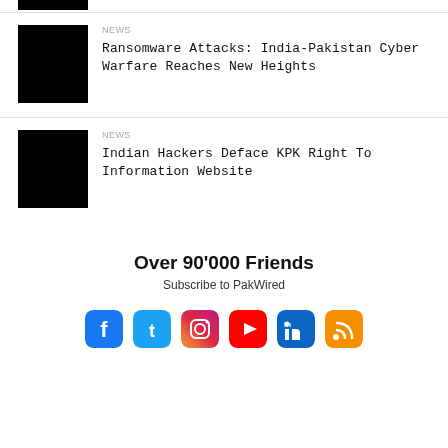[Figure (photo): Partially visible black image thumbnail at top of page]
NEWS
Ransomware Attacks: India-Pakistan Cyber Warfare Reaches New Heights
[Figure (photo): Black image thumbnail for second news article]
NEWS
Indian Hackers Deface KPK Right To Information Website
Over 90'000 Friends
Subscribe to PakWired
[Figure (infographic): Social media icons: Facebook, Twitter, Instagram, YouTube, LinkedIn, RSS]